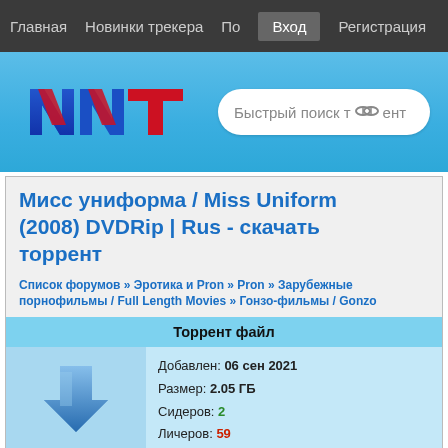Главная   Новинки трекера   По   Вход   Регистрация
[Figure (logo): NNT logo with blue and red letters on blue gradient background, with search box reading 'Быстрый поиск т...ент']
Мисс униформа / Miss Uniform (2008) DVDRip | Rus - скачать торрент
Список форумов » Эротика и Pron » Pron » Зарубежные порнофильмы / Full Length Movies » Гонзо-фильмы / Gonzo
Торрент файл
Добавлен: 06 сен 2021
Размер: 2.05 ГБ
Сидеров: 2
Личеров: 59